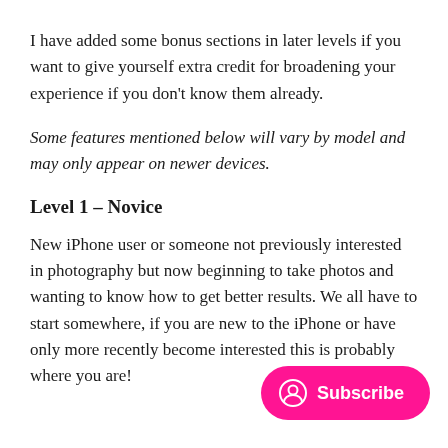I have added some bonus sections in later levels if you want to give yourself extra credit for broadening your experience if you don't know them already.
Some features mentioned below will vary by model and may only appear on newer devices.
Level 1 – Novice
New iPhone user or someone not previously interested in photography but now beginning to take photos and wanting to know how to get better results. We all have to start somewhere, if you are new to the iPhone or have only more recently become interested this is probably where you are!